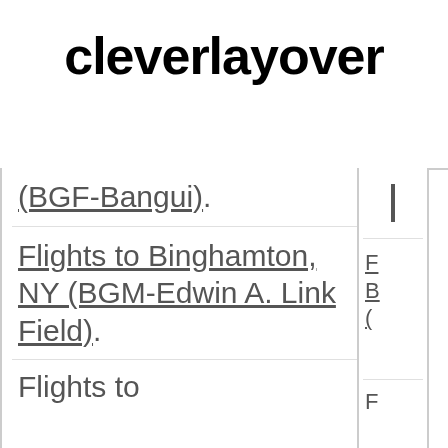cleverlayover
(BGF-Bangui)
Flights to Binghamton, NY (BGM-Edwin A. Link Field)
Flights to